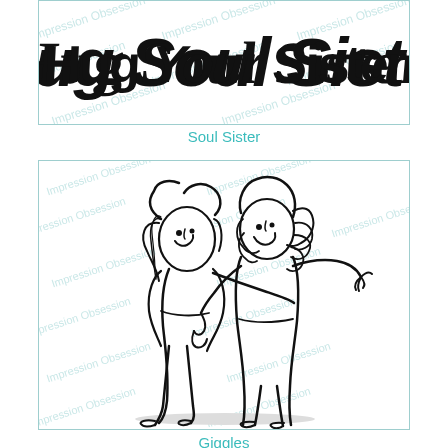[Figure (illustration): Stamp product image showing stylized hand-lettered text 'Hug Your Sister' in bold brush script on white background with 'Impression Obsession' watermark repeated across the image.]
Soul Sister
[Figure (illustration): Stamp product image showing a cartoon line drawing of two women hugging and laughing together, one with straight hair and one with curly hair, both smiling with arms around each other. The image has 'Impression Obsession' watermark repeated across it.]
Giggles